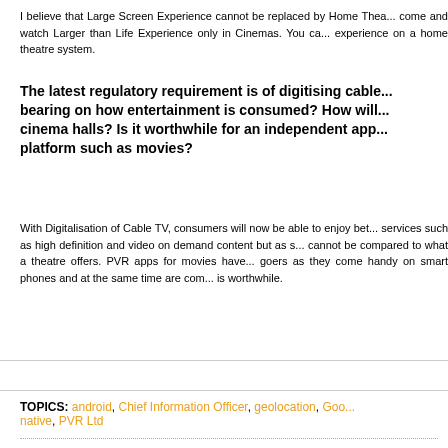I believe that Large Screen Experience cannot be replaced by Home Thea... come and watch Larger than Life Experience only in Cinemas. You ca... experience on a home theatre system.
The latest regulatory requirement is of digitising cable... bearing on how entertainment is consumed? How will... cinema halls? Is it worthwhile for an independent app... platform such as movies?
With Digitalisation of Cable TV, consumers will now be able to enjoy bet... services such as high definition and video on demand content but as s... cannot be compared to what a theatre offers. PVR apps for movies have... goers as they come handy on smart phones and at the same time are com... is worthwhile.
TOPICS: android, Chief Information Officer, geolocation, Goo... native, PVR Ltd
...............................................................................